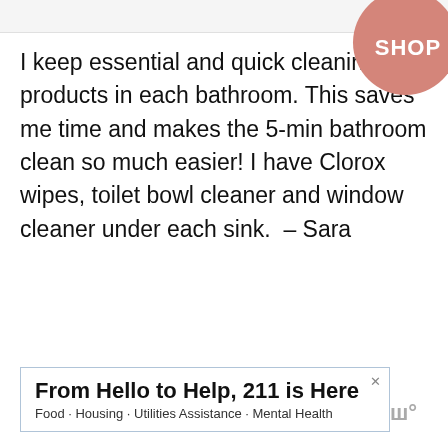I keep essential and quick cleaning products in each bathroom. This saves me time and makes the 5-min bathroom clean so much easier! I have Clorox wipes, toilet bowl cleaner and window cleaner under each sink.  – Sara
[Figure (other): Salmon/terracotta colored circle with 'SHOP' text in white, overlapping top-right corner]
From Hello to Help, 211 is Here
Food · Housing · Utilities Assistance · Mental Health